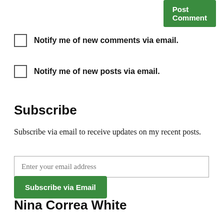Post Comment
Notify me of new comments via email.
Notify me of new posts via email.
Subscribe
Subscribe via email to receive updates on my recent posts.
Enter your email address
Subscribe via Email
Nina Correa White
Artist, writer, chronic dreamer, and Virginia Beach native.